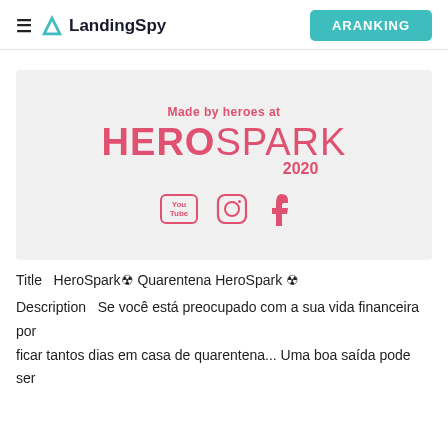≡ LandingSpy | ARANKING
[Figure (logo): HeroSpark 2020 logo on light gray background with social media icons (YouTube, Instagram, Facebook). Text reads 'Made by heroes at HEROSPARK 2020' in pink/red color.]
Title  HeroSpark☢ Quarentena HeroSpark ☢
Description   Se você está preocupado com a sua vida financeira por ficar tantos dias em casa de quarentena... Uma boa saída pode ser